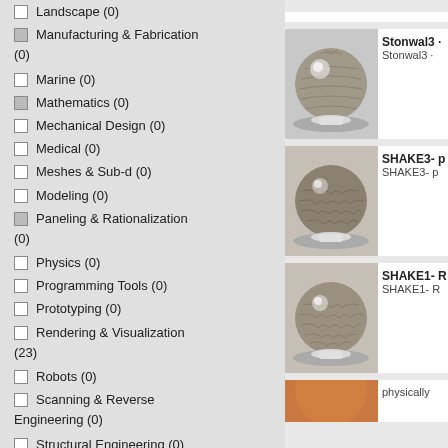Landscape (0)
Manufacturing & Fabrication (0)
Marine (0)
Mathematics (0)
Mechanical Design (0)
Medical (0)
Meshes & Sub-d (0)
Modeling (0)
Paneling & Rationalization (0)
Physics (0)
Programming Tools (0)
Prototyping (0)
Rendering & Visualization (23)
Robots (0)
Scanning & Reverse Engineering (0)
Structural Engineering (0)
Urban Planning & City
[Figure (photo): 3D render of a sphere with stone/straw texture on a pedestal - Stonwal3 material preview]
[Figure (photo): 3D render of a sphere with woven/shake texture on a pedestal - SHAKE3 material preview]
[Figure (photo): 3D render of a sphere with woven/shake texture on a pedestal - SHAKE1 material preview]
[Figure (photo): 3D render of a sphere with orange/physical texture - physically material preview (partial)]